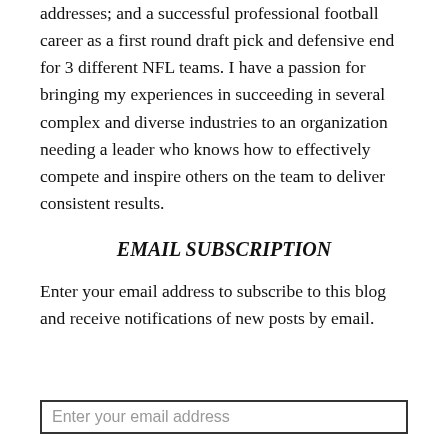numerous motivational speaking engagements and keynote addresses; and a successful professional football career as a first round draft pick and defensive end for 3 different NFL teams. I have a passion for bringing my experiences in succeeding in several complex and diverse industries to an organization needing a leader who knows how to effectively compete and inspire others on the team to deliver consistent results.
EMAIL SUBSCRIPTION
Enter your email address to subscribe to this blog and receive notifications of new posts by email.